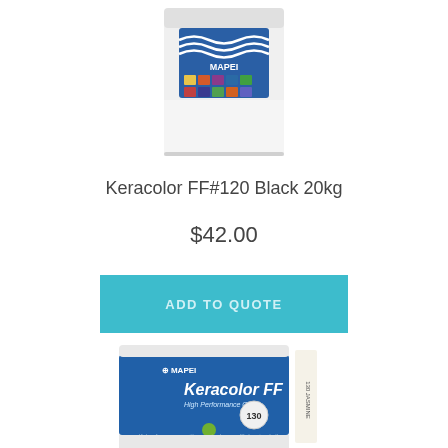[Figure (photo): Mapei Keracolor FF grout bag #120 Black 20kg product photograph, white bag with colorful mosaic tiles graphic]
Keracolor FF#120 Black 20kg
$42.00
ADD TO QUOTE
[Figure (photo): Mapei Keracolor FF grout bag #130 Jasmine product photograph, blue and white bag with number 130, with color swatch tab on right side]